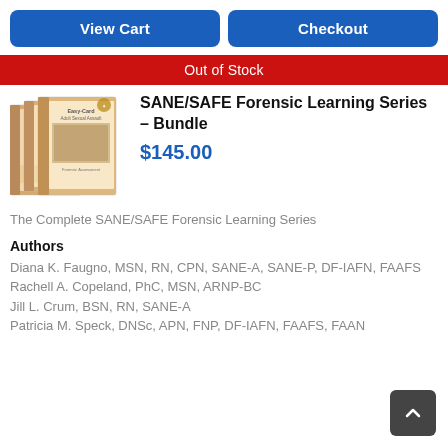View Cart | Checkout
Out of Stock
[Figure (photo): Three books from SANE/SAFE Forensic Learning Series stacked/fanned]
SANE/SAFE Forensic Learning Series – Bundle
$145.00
The Complete SANE/SAFE Forensic Learning Series
Authors
Diana K. Faugno, MSN, RN, CPN, SANE-A, SANE-P, DF-IAFN, FAAFS
Rachell A. Copeland, PhC, MSN, ARNP-BC
Jill L. Crum, BSN, RN, SANE-A
Patricia M. Speck, DNSc, APN, FNP, DF-IAFN, FAAFS, FAAN